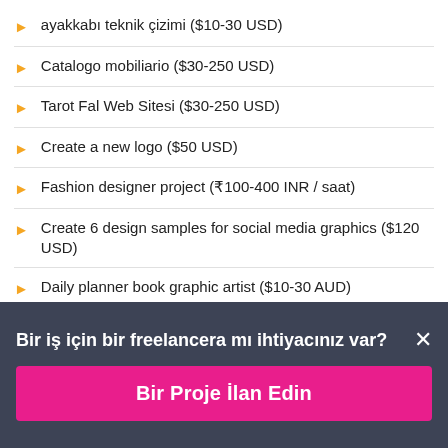ayakkabı teknik çizimi ($10-30 USD)
Catalogo mobiliario ($30-250 USD)
Tarot Fal Web Sitesi ($30-250 USD)
Create a new logo ($50 USD)
Fashion designer project (₹100-400 INR / saat)
Create 6 design samples for social media graphics ($120 USD)
Daily planner book graphic artist ($10-30 AUD)
Graphic Designing (₹100-400 INR / saat)
Bir iş için bir freelancera mı ihtiyacınız var?
Bir Proje İlan Edin